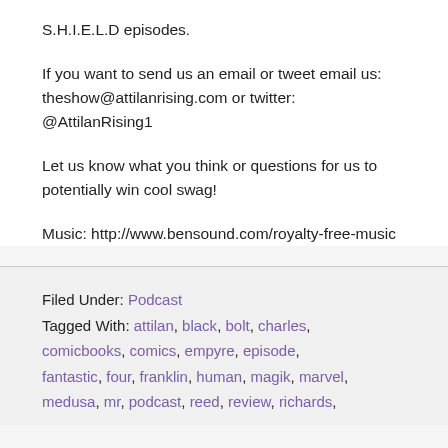S.H.I.E.L.D episodes.
If you want to send us an email or tweet email us: theshow@attilanrising.com or twitter: @AttilanRising1
Let us know what you think or questions for us to potentially win cool swag!
Music: http://www.bensound.com/royalty-free-music
Filed Under: Podcast
Tagged With: attilan, black, bolt, charles, comicbooks, comics, empyre, episode, fantastic, four, franklin, human, magik, marvel, medusa, mr, podcast, reed, review, richards,